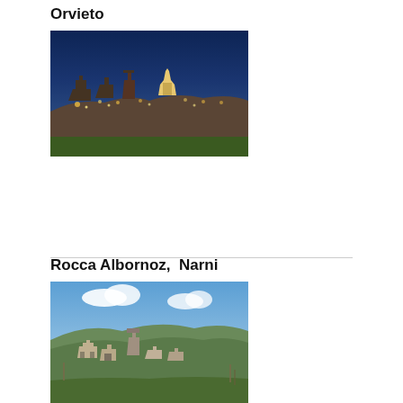Orvieto
[Figure (photo): Night panoramic view of Orvieto, an Italian hilltop town with illuminated cathedral and buildings against a dark blue sky]
Rocca Albornoz,  Narni
[Figure (photo): Daytime view of Narni, an Italian hilltop town with stone buildings, towers, and green hills under a partly cloudy blue sky]